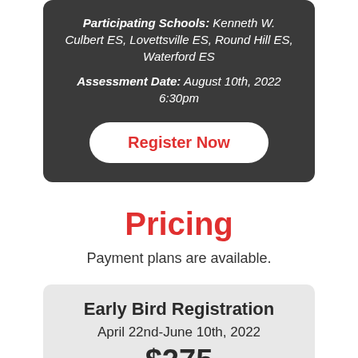Participating Schools: Kenneth W. Culbert ES, Lovettsville ES, Round Hill ES, Waterford ES
Assessment Date: August 10th, 2022 6:30pm
Register Now
Pricing
Payment plans are available.
Early Bird Registration
April 22nd-June 10th, 2022
$275